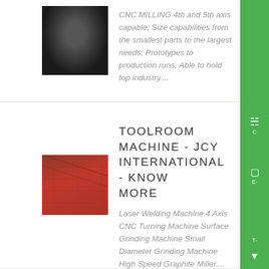[Figure (photo): Dark metallic CNC milled part, close-up showing machined surface]
CNC MILLING 4th and 5th axis capable; Size capabilities from the smallest parts to the largest needs; Prototypes to production runs; Able to hold top industry....
[Figure (photo): Orange/red industrial machine surface with grid pattern, likely a laser welding or grinding machine]
TOOLROOM MACHINE - JCY International - Know More
Laser Welding Machine 4 Axis CNC Turning Machine Surface Grinding Machine Small Diameter Grinding Machine High Speed Graphite Miller....